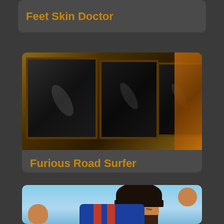Feet Skin Doctor
[Figure (illustration): Dark room with multiple old CRT television screens arranged together, with warm orange/brown background decor]
Furious Road Surfer
[Figure (illustration): Animated cartoon soccer player with dark hair and beard, wearing a blue and red striped jersey, raising fists in celebration against a blue sky background]